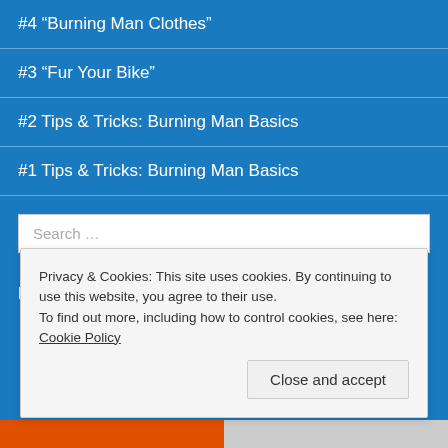#4 “Burning Man Clothes”
#3 “Fur Your Bike”
#2 Tips & Tricks: Burning Man Basics
#1 Tips & Tricks: Burning Man Basics
Search ...
RECENT COMMENTS
Privacy & Cookies: This site uses cookies. By continuing to use this website, you agree to their use.
To find out more, including how to control cookies, see here: Cookie Policy
Close and accept